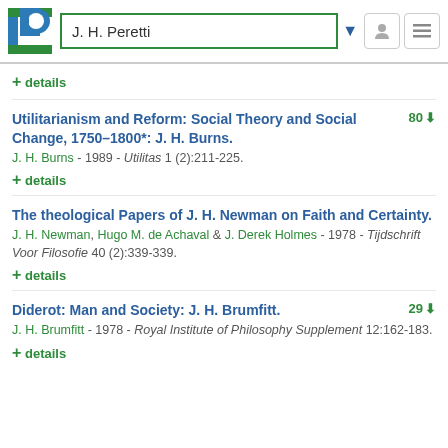J. H. Peretti
+ details
Utilitarianism and Reform: Social Theory and Social Change, 1750–1800*: J. H. Burns.
J. H. Burns - 1989 - Utilitas 1 (2):211-225.
+ details
The theological Papers of J. H. Newman on Faith and Certainty.
J. H. Newman, Hugo M. de Achaval & J. Derek Holmes - 1978 - Tijdschrift Voor Filosofie 40 (2):339-339.
+ details
Diderot: Man and Society: J. H. Brumfitt.
J. H. Brumfitt - 1978 - Royal Institute of Philosophy Supplement 12:162-183.
+ details